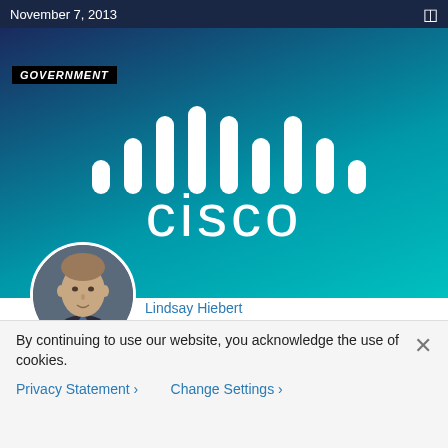November 7, 2013
[Figure (logo): Cisco logo on teal/navy gradient background with GOVERNMENT badge]
Lindsay Hiebert
Public Safety Blog Series – Connecting the Unconnected is Smart Law Enforcement
By continuing to use our website, you acknowledge the use of cookies.
Privacy Statement > Change Settings >